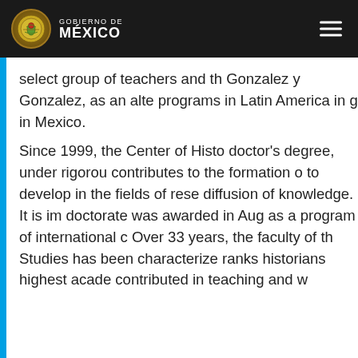GOBIERNO DE MÉXICO
select group of teachers and th Gonzalez y Gonzalez, as an alte programs in Latin America in g in Mexico. Since 1999, the Center of Histo doctor's degree, under rigorou contributes to the formation o to develop in the fields of rese diffusion of knowledge. It is im doctorate was awarded in Aug as a program of international c Over 33 years, the faculty of th Studies has been characterize ranks historians highest acade contributed in teaching and w